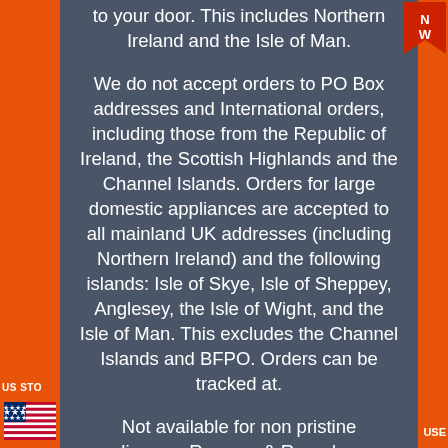to your door. This includes Northern Ireland and the Isle of Man.
We do not accept orders to PO Box addresses and International orders, including those from the Republic of Ireland, the Scottish Highlands and the Channel Islands. Orders for large domestic appliances are accepted to all mainland UK addresses (including Northern Ireland) and the following islands: Isle of Skye, Isle of Sheppey, Anglesey, the Isle of Wight, and the Isle of Man. This excludes the Channel Islands and BFPO. Orders can be tracked at.
Not available for non pristine appliances. Remove & Recycle your old product. Order reference/tracking details will be emailed to you. Enter your order reference number in "Track It". Please let us know immediately , as we can help you resolve this. Just get in